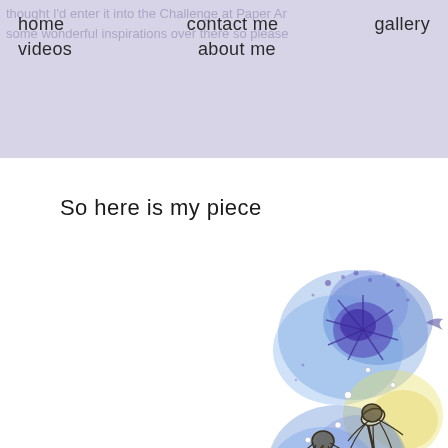home   contact me   gallery
videos   about me
So here is my piece
[Figure (illustration): Watercolor artwork showing blue and yellow flowers with ink outlines, including dandelion-like blooms and echinacea flowers, with purple and blue watercolor washes and small pearl/droplet embellishments on a white background.]